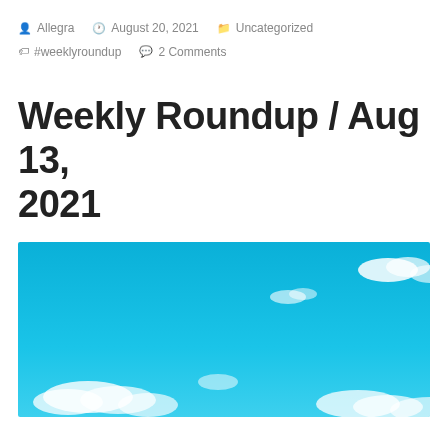Allegra   August 20, 2021   Uncategorized   #weeklyroundup   2 Comments
Weekly Roundup / Aug 13, 2021
[Figure (photo): Blue sky with scattered white clouds, cropped at bottom of page]